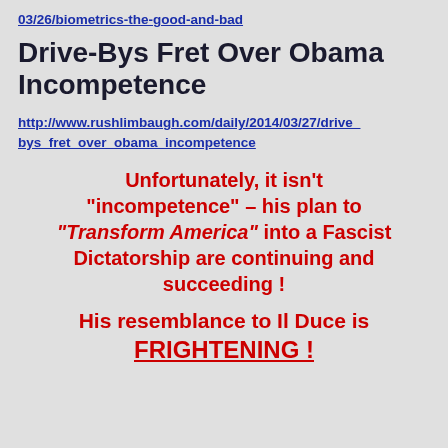03/26/biometrics-the-good-and-bad
Drive-Bys Fret Over Obama Incompetence
http://www.rushlimbaugh.com/daily/2014/03/27/drive_bys_fret_over_obama_incompetence
Unfortunately, it isn’t “incompetence” – his plan to “Transform America” into a Fascist Dictatorship are continuing and succeeding !
His resemblance to Il Duce is FRIGHTENING !